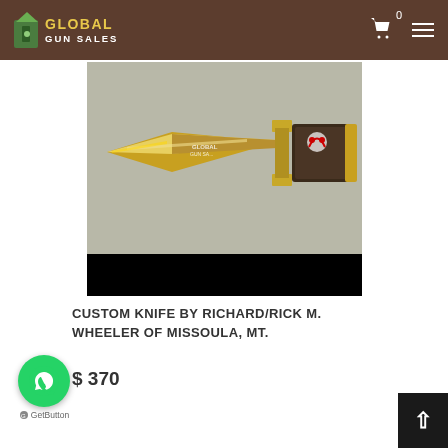GLOBAL GUN SALES
[Figure (photo): A gold/chrome custom dagger knife with decorative handle, photographed on a light gray surface. The blade is reflective gold-colored. There is a Global Gun Sales logo on the blade. The handle has a dark decorative panel.]
CUSTOM KNIFE BY RICHARD/RICK M. WHEELER OF MISSOULA, MT.
$ 370